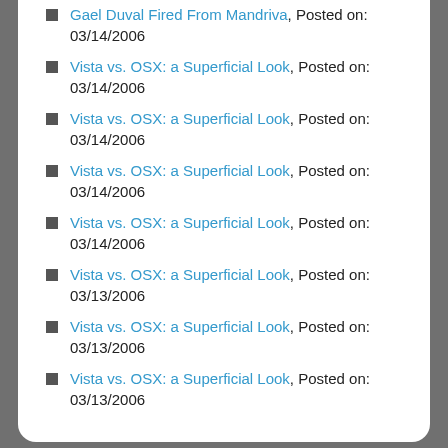Gael Duval Fired From Mandriva, Posted on: 03/14/2006
Vista vs. OSX: a Superficial Look, Posted on: 03/14/2006
Vista vs. OSX: a Superficial Look, Posted on: 03/14/2006
Vista vs. OSX: a Superficial Look, Posted on: 03/14/2006
Vista vs. OSX: a Superficial Look, Posted on: 03/14/2006
Vista vs. OSX: a Superficial Look, Posted on: 03/13/2006
Vista vs. OSX: a Superficial Look, Posted on: 03/13/2006
Vista vs. OSX: a Superficial Look, Posted on: 03/13/2006
SEARCH OSNEWS